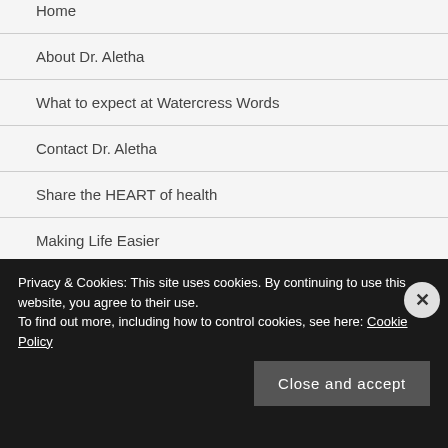Home
About Dr. Aletha
What to expect at Watercress Words
Contact Dr. Aletha
Share the HEART of health
Making Life Easier
my Reader Rewards Club
Privacy & Cookies: This site uses cookies. By continuing to use this website, you agree to their use.
To find out more, including how to control cookies, see here: Cookie Policy
Close and accept